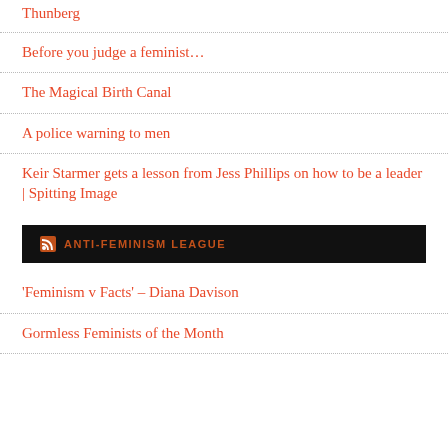Thunberg
Before you judge a feminist…
The Magical Birth Canal
A police warning to men
Keir Starmer gets a lesson from Jess Phillips on how to be a leader | Spitting Image
ANTI-FEMINISM LEAGUE
'Feminism v Facts' – Diana Davison
Gormless Feminists of the Month